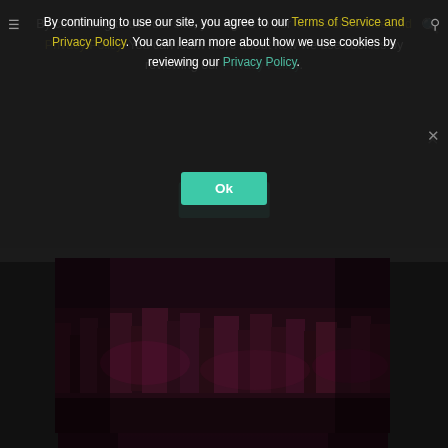By continuing to use our site, you agree to our Terms of Service and Privacy Policy. You can learn more about how we use cookies by reviewing our Privacy Policy.
[Figure (photo): Aerial/panoramic view of a dense urban cityscape at dusk or night with purple/red tones]
Load More...
Follow on Instagram